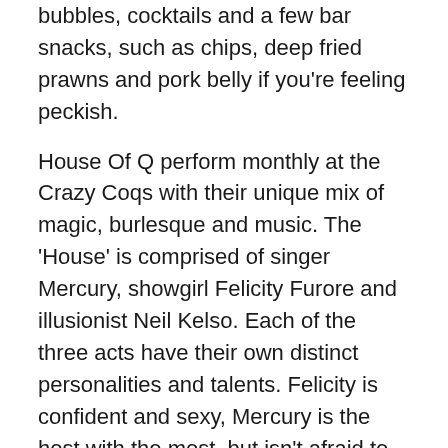bubbles, cocktails and a few bar snacks, such as chips, deep fried prawns and pork belly if you're feeling peckish.
House Of Q perform monthly at the Crazy Coqs with their unique mix of magic, burlesque and music. The 'House' is comprised of singer Mercury, showgirl Felicity Furore and illusionist Neil Kelso. Each of the three acts have their own distinct personalities and talents. Felicity is confident and sexy, Mercury is the host with the most, but isn't afraid to show his vulnerable side, while Neil initially comes across as bashful, before his quirkiness and humour shines through. Despite the limited space and props, the trio move seamlessly from one different segment to the next. Being in such a venue, it's no surprise to see there is some audience participation, with guests invited to take part in magic tricks. While, admittedly the acts are very different, there's certainly something for everyone and it's